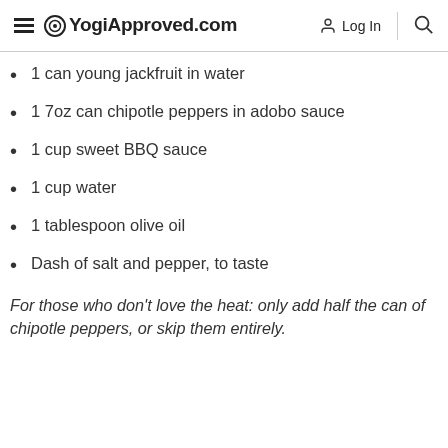YogiApproved.com  Log In
1 can young jackfruit in water
1 7oz can chipotle peppers in adobo sauce
1 cup sweet BBQ sauce
1 cup water
1 tablespoon olive oil
Dash of salt and pepper, to taste
For those who don't love the heat: only add half the can of chipotle peppers, or skip them entirely.